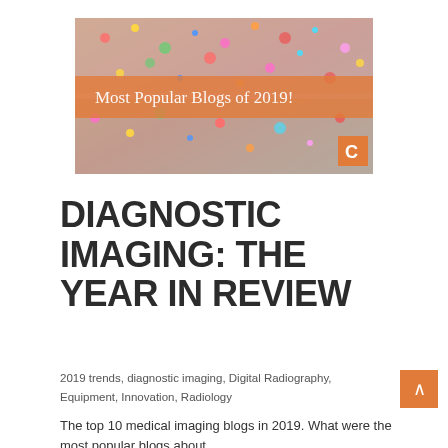[Figure (photo): Banner image showing people with colorful confetti, with an orange semi-transparent banner reading 'Most Popular Blogs of 2019!' and an orange 'C' logo in the bottom right corner.]
DIAGNOSTIC IMAGING: THE YEAR IN REVIEW
2019 trends, diagnostic imaging, Digital Radiography, Equipment, Innovation, Radiology
The top 10 medical imaging blogs in 2019. What were the most popular blogs about...